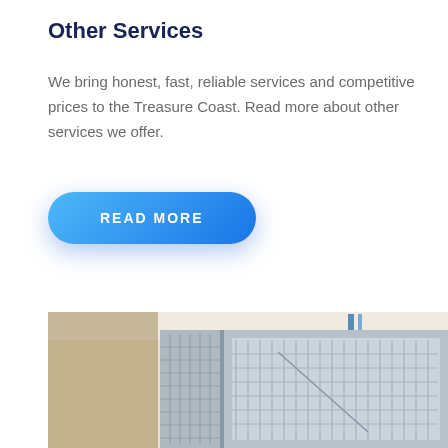Other Services
We bring honest, fast, reliable services and competitive prices to the Treasure Coast. Read more about other services we offer.
[Figure (other): Blue rounded button with text READ MORE]
[Figure (photo): Outdoor HVAC air conditioning unit mounted near a building wall, showing metal grilles and a fan unit, beige stucco wall visible]